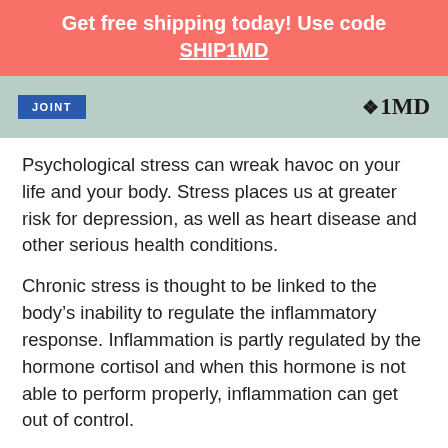Get free shipping today! Use code SHIP1MD
[Figure (photo): Partial image showing a yoga mat scene with a blue label reading 'JOINT' and 1MD logo on the right side]
Psychological stress can wreak havoc on your life and your body. Stress places us at greater risk for depression, as well as heart disease and other serious health conditions.
Chronic stress is thought to be linked to the body's inability to regulate the inflammatory response. Inflammation is partly regulated by the hormone cortisol and when this hormone is not able to perform properly, inflammation can get out of control.